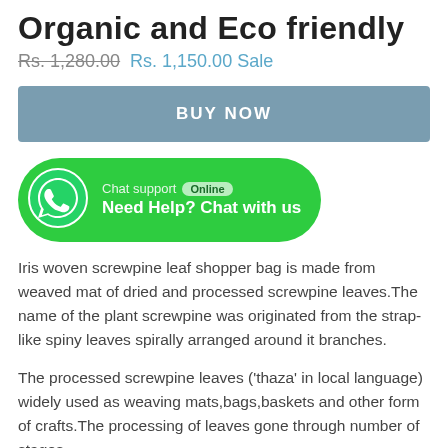Organic and Eco friendly
Rs. 1,280.00   Rs. 1,150.00 Sale
BUY NOW
[Figure (other): WhatsApp chat support button with green background, phone icon, 'Chat support Online' label and 'Need Help? Chat with us' text]
Iris woven screwpine leaf shopper bag is made from weaved mat of dried and processed screwpine leaves.The name of the plant screwpine was originated from the strap-like spiny leaves spirally arranged around it branches.
The processed screwpine leaves ('thaza' in local language) widely used as weaving mats,bags,baskets and other form of crafts.The processing of leaves gone through number of stages